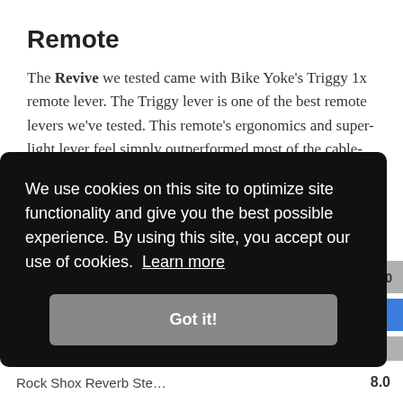Remote
The Revive we tested came with Bike Yoke's Triggy 1x remote lever. The Triggy lever is one of the best remote levers we've tested. This remote's ergonomics and super-light lever feel simply outperformed most of the cable-actuated competition.
Remote Rating
[Figure (bar-chart): Partial bar chart showing Remote Rating scores, partially obscured by cookie banner. Score 0.0 visible, blue bar and gray bar partially visible.]
We use cookies on this site to optimize site functionality and give you the best possible experience. By using this site, you accept our use of cookies. Learn more
Got it!
Rock Shox Reverb Ste…
8.0